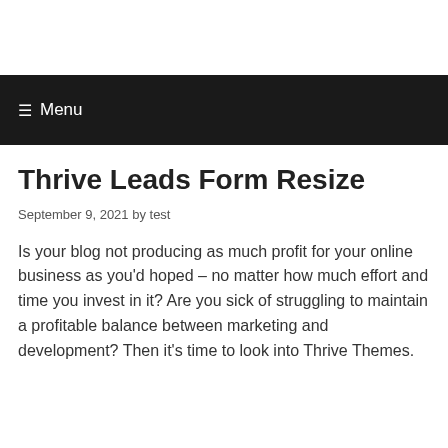Menu
Thrive Leads Form Resize
September 9, 2021 by test
Is your blog not producing as much profit for your online business as you’d hoped – no matter how much effort and time you invest in it? Are you sick of struggling to maintain a profitable balance between marketing and development? Then it’s time to look into Thrive Themes.